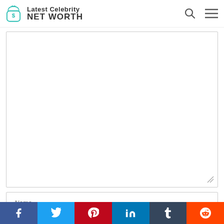Latest Celebrity NET WORTH
[Figure (screenshot): Comment text area input box (empty), with resize handle at bottom right]
Name...
Email...
Social share bar: Facebook, Twitter, Pinterest, LinkedIn, Tumblr, Reddit